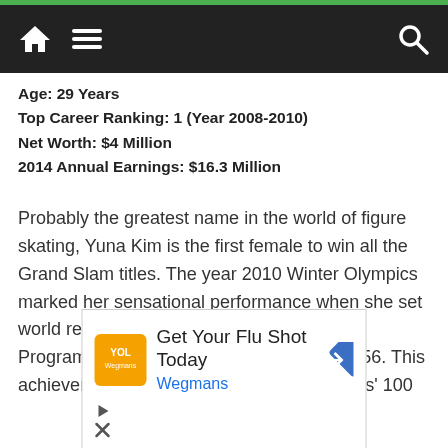Navigation bar with home, menu, and search icons
Age: 29 Years
Top Career Ranking: 1 (Year 2008-2010)
Net Worth: $4 Million
2014 Annual Earnings: $16.3 Million
Probably the greatest name in the world of figure skating, Yuna Kim is the first female to win all the Grand Slam titles. The year 2010 Winter Olympics marked her sensational performance when she set world records in the Free Skate and Short Program. She had a combined total of 228.56. This achievement led her to feature among Times' 100
[Figure (screenshot): Advertisement banner: 'Get Your Flu Shot Today' with Wegmans logo and navigation arrow icon, with play and close buttons below]